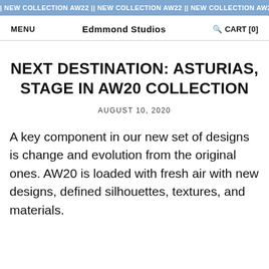| NEW COLLECTION AW22 || NEW COLLECTION AW22 || NEW COLLECTION AW22 || NI
MENU   Edmmond Studios   CART [0]
NEXT DESTINATION: ASTURIAS, STAGE IN AW20 COLLECTION
AUGUST 10, 2020
A key component in our new set of designs is change and evolution from the original ones. AW20 is loaded with fresh air with new designs, defined silhouettes, textures, and materials.